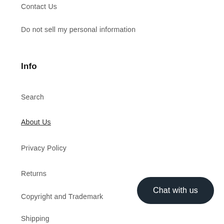Contact Us
Do not sell my personal information
Info
Search
About Us
Privacy Policy
Returns
Copyright and Trademark
Shipping
Contact Us